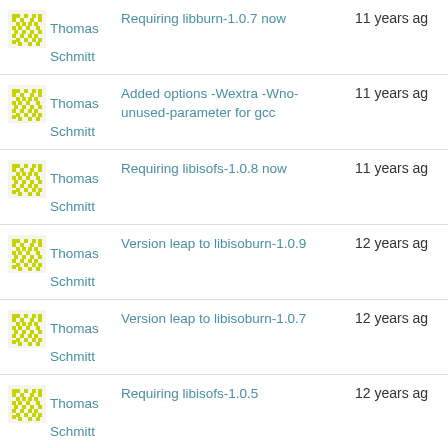Thomas Schmitt | Requiring libburn-1.0.7 now | 11 years ag
Thomas Schmitt | Added options -Wextra -Wno-unused-parameter for gcc | 11 years ag
Thomas Schmitt | Requiring libisofs-1.0.8 now | 11 years ag
Thomas Schmitt | Version leap to libisoburn-1.0.9 | 12 years ag
Thomas Schmitt | Version leap to libisoburn-1.0.7 | 12 years ag
Thomas Schmitt | Requiring libisofs-1.0.5 | 12 years ag